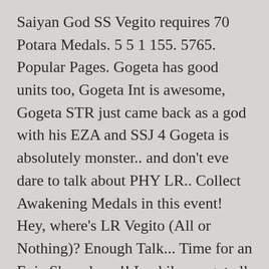Saiyan God SS Vegito requires 70 Potara Medals. 5 5 1 155. 5765. Popular Pages. Gogeta has good units too, Gogeta Int is awesome, Gogeta STR just came back as a god with his EZA and SSJ 4 Gogeta is absolutely monster.. and don't eve dare to talk about PHY LR.. Collect Awakening Medals in this event! Hey, where's LR Vegito (All or Nothing)? Enough Talk... Time for an Epic Showdown!! Luckily we got all those keys so I can farm up the 6k apples I need to buy 2 Goku GT medals and then farm like 10 Pan and 10 Trunks medals. 5221. Elated Spirit; ATK & DEF +40%; plus an additional ATK & DEF +10% when there is a 'Goku's Family' Category ally on the team; plus an additional ATK & DEF +10% when